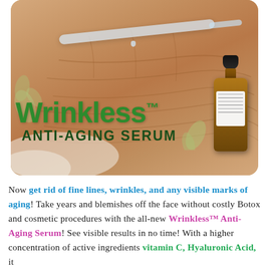[Figure (photo): Close-up photo of aged/wrinkled hand with serum dropper being applied, amber dropper bottle on right side, green leaf decorations, and 'Wrinkless™ ANTI-AGING SERUM' text overlay on the image]
Now get rid of fine lines, wrinkles, and any visible marks of aging! Take years and blemishes off the face without costly Botox and cosmetic procedures with the all-new Wrinkless™ Anti-Aging Serum! See visible results in no time! With a higher concentration of active ingredients vitamin C, Hyaluronic Acid, it...